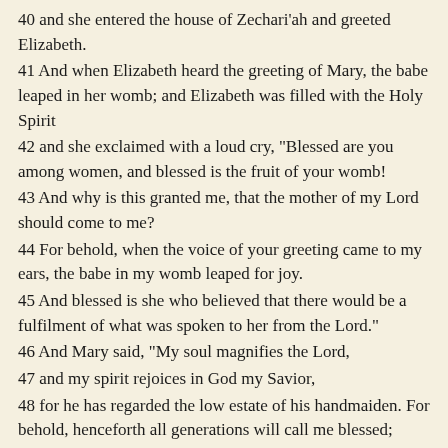40 and she entered the house of Zechari'ah and greeted Elizabeth. 41 And when Elizabeth heard the greeting of Mary, the babe leaped in her womb; and Elizabeth was filled with the Holy Spirit 42 and she exclaimed with a loud cry, "Blessed are you among women, and blessed is the fruit of your womb! 43 And why is this granted me, that the mother of my Lord should come to me? 44 For behold, when the voice of your greeting came to my ears, the babe in my womb leaped for joy. 45 And blessed is she who believed that there would be a fulfilment of what was spoken to her from the Lord." 46 And Mary said, "My soul magnifies the Lord, 47 and my spirit rejoices in God my Savior, 48 for he has regarded the low estate of his handmaiden. For behold, henceforth all generations will call me blessed; 49 for he who is mighty has done great things for me, and holy is his name. 50 And his mercy is on those who fear him from generation to generation. 51 He has shown strength with his arm, he has scattered the proud in the imagination of their hearts, 52 he has put down the mighty from their thrones, and exalted